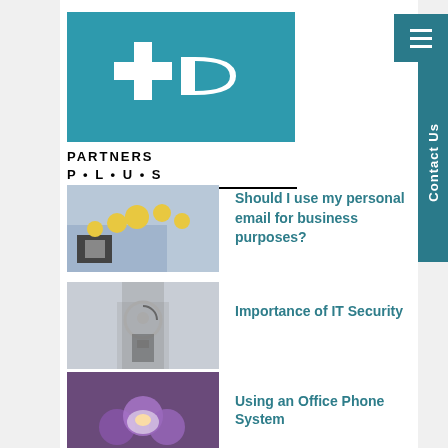[Figure (logo): Partners Plus logo: teal box with white plus sign and arrow, text 'PARTNERS P·L·U·S' below]
[Figure (other): Hamburger menu button (three horizontal lines) on teal background, top right]
[Figure (other): Contact Us vertical tab on teal background, right side]
Should I use my personal email for business purposes?
Importance of IT Security
Using an Office Phone System
Secure Data Backups and Recovery